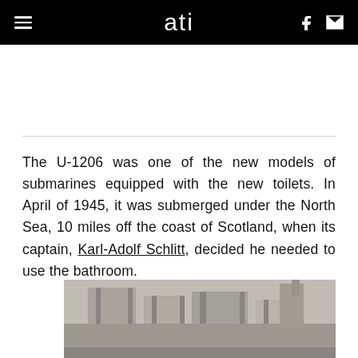ati
The U-1206 was one of the new models of submarines equipped with the new toilets. In April of 1945, it was submerged under the North Sea, 10 miles off the coast of Scotland, when its captain, Karl-Adolf Schlitt, decided he needed to use the bathroom.
[Figure (photo): Black and white photograph of a concrete structure, appears to be a submarine bunker or similar military/industrial building, partially visible at the bottom of the page.]